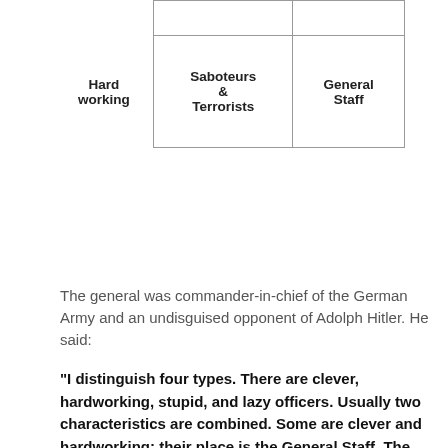[Figure (table-as-image): A 2x2 matrix table showing four types based on clever/stupid and hardworking/lazy axes. Bottom-left: Hard working row label. Top cells: Saboteurs & Terrorists, General Staff.]
The general was commander-in-chief of the German Army and an undisguised opponent of Adolph Hitler. He said:
"I distinguish four types. There are clever, hardworking, stupid, and lazy officers. Usually two characteristics are combined. Some are clever and hardworking; their place is the General Staff. The next ones are stupid and lazy; they make up 90 percent of every army and are suited to routine duties. Anyone who is both clever and lazy is qualified for the highest leadership duties, because he possesses the mental clarity and strength of nerve necessary for difficult decisions. One must beware of anyone who is both stupid and